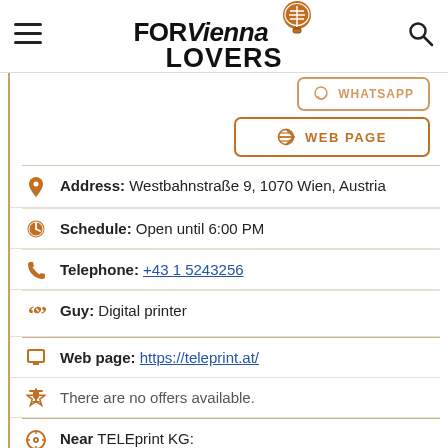FOR Vienna LOVERS [logo with balloon icon]
WEB PAGE [button]
Address: Westbahnstraße 9, 1070 Wien, Austria
Schedule: Open until 6:00 PM
Telephone: +43 1 5243256
Guy: Digital printer
Web page: https://teleprint.at/
There are no offers available.
Near TELEprint KG:
a 3 meters away delicatessen stores: Un jour en France
a 13 meters away vinyl shops in: Substance